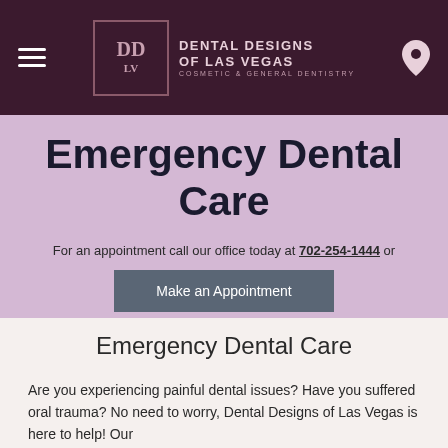Dental Designs of Las Vegas — Cosmetic & General Dentistry
Emergency Dental Care
For an appointment call our office today at 702-254-1444 or
Make an Appointment
Emergency Dental Care
Are you experiencing painful dental issues? Have you suffered oral trauma? No need to worry, Dental Designs of Las Vegas is here to help! Our